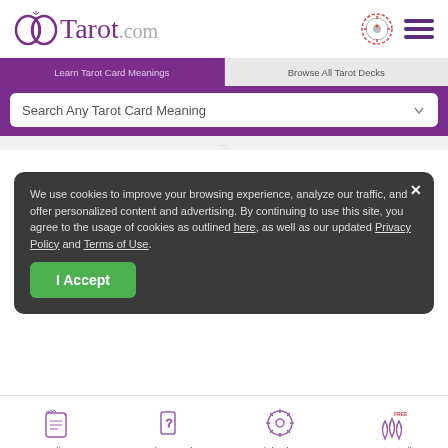[Figure (logo): Tarot.com logo with purple interlocking circles icon and text]
Learn Tarot Card Meanings | Browse All Tarot Decks
Search Any Tarot Card Meaning
Strength Tarot Card Meanings
Clearly distinguish between your ego and your intuitive self.
We use cookies to improve your browsing experience, analyze our traffic, and offer personalized content and advertising. By continuing to use this site, you agree to the usage of cookies as outlined here, as well as our updated Privacy Policy and Terms of Use.
I Accept
Readings | Cards & Decks | Birth Chart | Keen Reading